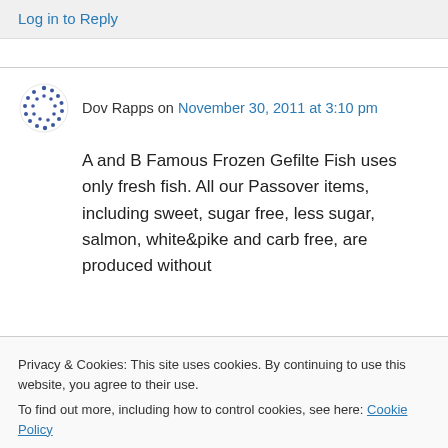Log in to Reply
Dov Rapps on November 30, 2011 at 3:10 pm
A and B Famous Frozen Gefilte Fish uses only fresh fish. All our Passover items, including sweet, sugar free, less sugar, salmon, white&pike and carb free, are produced without
Privacy & Cookies: This site uses cookies. By continuing to use this website, you agree to their use.
To find out more, including how to control cookies, see here: Cookie Policy
Close and accept
Log in to Reply